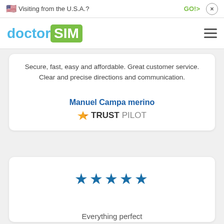🇺🇸 Visiting from the U.S.A.?   GO!>   ×
[Figure (logo): doctorSIM logo with hamburger menu icon]
Secure, fast, easy and affordable. Great customer service. Clear and precise directions and communication.
Manuel Campa merino
[Figure (logo): Trustpilot logo]
[Figure (other): Five blue stars rating]
Everything perfect